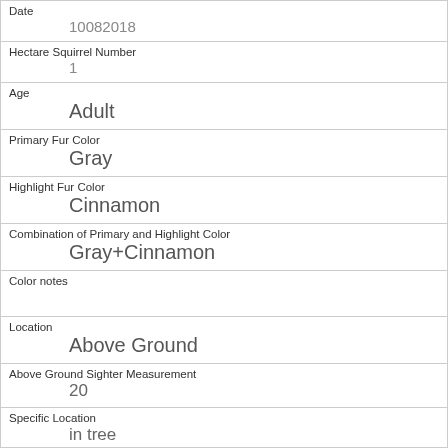Date
10082018
Hectare Squirrel Number
1
Age
Adult
Primary Fur Color
Gray
Highlight Fur Color
Cinnamon
Combination of Primary and Highlight Color
Gray+Cinnamon
Color notes
Location
Above Ground
Above Ground Sighter Measurement
20
Specific Location
in tree